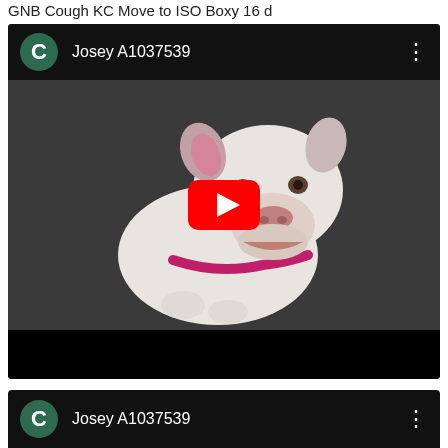GNB Cough KC Move to ISO Boxy 16 d
[Figure (screenshot): YouTube video player showing a white pit bull dog with a pink collar, looking up at the camera on a dark surface. The video header shows a green 'C' avatar circle and text 'Josey A1037539' with a three-dot menu on the right. A red YouTube play button is overlaid in the center of the video. The bottom portion of the player is black.]
[Figure (screenshot): Second YouTube video player (partially visible at bottom) showing the same channel with green 'C' avatar, text 'Josey A1037539', and three-dot menu. The video thumbnail begins to show at the very bottom edge.]